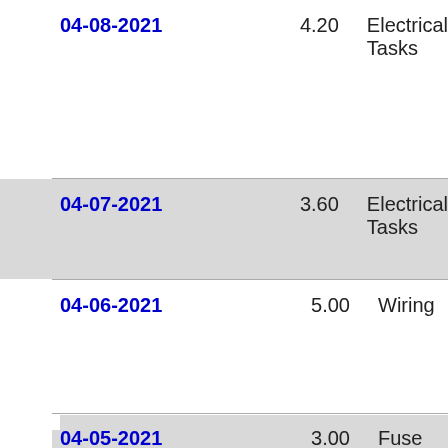| Date | Hours | Task |
| --- | --- | --- |
| 04-08-2021 | 4.20 | Electrical Tasks |
| 04-07-2021 | 3.60 | Electrical Tasks |
| 04-06-2021 | 5.00 | Wiring |
| 04-05-2021 | 3.00 | Fuse Trays |